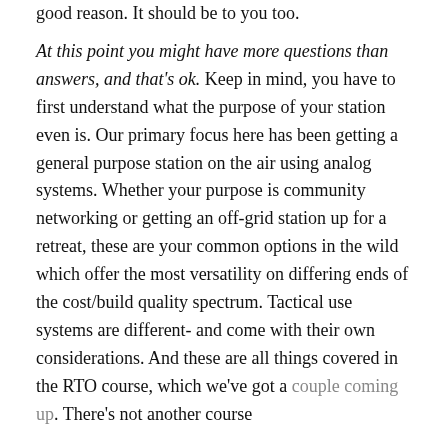good reason. It should be to you too.
At this point you might have more questions than answers, and that's ok. Keep in mind, you have to first understand what the purpose of your station even is. Our primary focus here has been getting a general purpose station on the air using analog systems. Whether your purpose is community networking or getting an off-grid station up for a retreat, these are your common options in the wild which offer the most versatility on differing ends of the cost/build quality spectrum. Tactical use systems are different- and come with their own considerations. And these are all things covered in the RTO course, which we've got a couple coming up. There's not another course